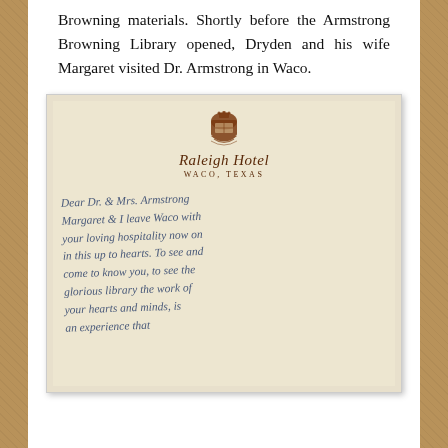Browning materials. Shortly before the Armstrong Browning Library opened, Dryden and his wife Margaret visited Dr. Armstrong in Waco.
[Figure (photo): A handwritten letter on Raleigh Hotel, Waco Texas stationery. The letter begins 'Dear Dr. & Mrs. Armstrong, Margaret & I leave Waco with your loving hospitality now on this up to hearts. To see and come to know you, to see the glorious library the work of your hearts and minds, is an experience that...' The hotel letterhead shows a decorative crest above the hotel name in italic script.]